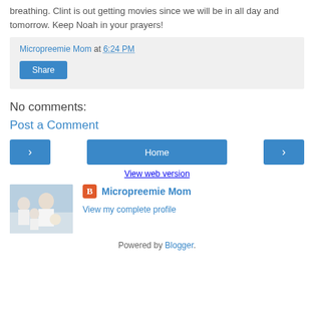breathing. Clint is out getting movies since we will be in all day and tomorrow. Keep Noah in your prayers!
Micropreemie Mom at 6:24 PM
Share
No comments:
Post a Comment
[Figure (screenshot): Navigation buttons: left arrow, Home, right arrow]
View web version
[Figure (photo): Family photo showing adults and children in white clothing]
Micropreemie Mom
View my complete profile
Powered by Blogger.